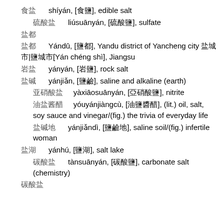食盐  shíyán, [食鹽], edible salt
硫酸盐  liúsuānyán, [硫酸鹽], sulfate
盐都
盐都  Yándū, [鹽都], Yandu district of Yancheng city 盐城市|鹽城市[Yán chéng shì], Jiangsu
岩盐  yányán, [岩鹽], rock salt
盐碱  yánjiǎn, [鹽鹼], saline and alkaline (earth)
亚硝酸盐  yàxiāosuānyán, [亞硝酸鹽], nitrite
油盐酱醋  yóuyánjiàngcù, [油鹽醬醋], (lit.) oil, salt, soy sauce and vinegar/(fig.) the trivia of everyday life
盐碱地  yánjiǎndì, [鹽鹼地], saline soil/(fig.) infertile woman
盐湖  yánhú, [鹽湖], salt lake
碳酸盐  tànsuānyán, [碳酸鹽], carbonate salt (chemistry)
碳酸盐